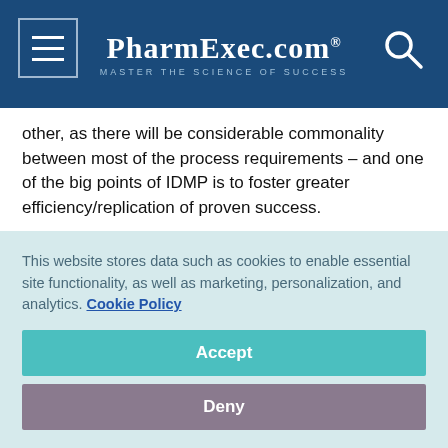PharmExec.com — MASTER THE SCIENCE OF SUCCESS
other, as there will be considerable commonality between most of the process requirements – and one of the big points of IDMP is to foster greater efficiency/replication of proven success.
Veterinary implementations of data standards will put pressure on affected industry stakeholders to establish target operating models for product and substance data, which is something all medicines companies now need to do anyway.
This website stores data such as cookies to enable essential site functionality, as well as marketing, personalization, and analytics. Cookie Policy
Accept
Deny